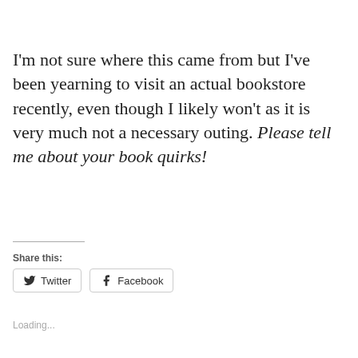I'm not sure where this came from but I've been yearning to visit an actual bookstore recently, even though I likely won't as it is very much not a necessary outing. Please tell me about your book quirks!
Share this:
Twitter
Facebook
Loading...